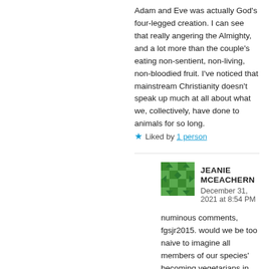Adam and Eve was actually God's four-legged creation. I can see that really angering the Almighty, and a lot more than the couple's eating non-sentient, non-living, non-bloodied fruit. I've noticed that mainstream Christianity doesn't speak up much at all about what we, collectively, have done to animals for so long.
★ Liked by 1 person
JEANIE MCEACHERN
December 31, 2021 at 8:54 PM
numinous comments, fgsjr2015. would we be too naive to imagine all members of our species' becoming vegetarians in both brain and body, followed by a nod of gratitude to the flora that feeds and